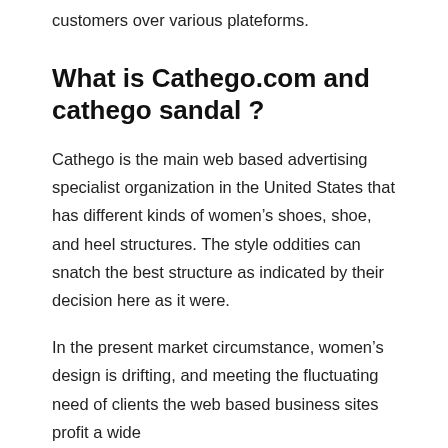customers over various plateforms.
What is Cathego.com and cathego sandal ?
Cathego is the main web based advertising specialist organization in the United States that has different kinds of women’s shoes, shoe, and heel structures. The style oddities can snatch the best structure as indicated by their decision here as it were.
In the present market circumstance, women’s design is drifting, and meeting the fluctuating need of clients the web based business sites profit a wide